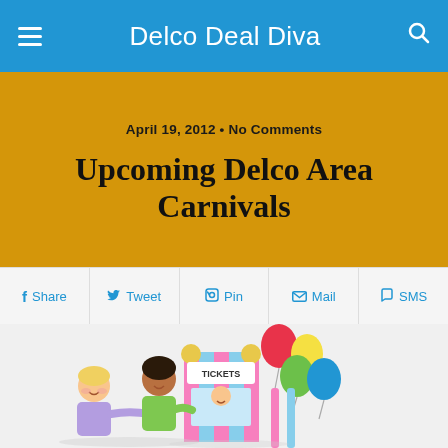Delco Deal Diva
April 19, 2012 • No Comments
Upcoming Delco Area Carnivals
Share | Tweet | Pin | Mail | SMS
[Figure (illustration): Cartoon illustration of children at a carnival ticket booth with colorful balloons]